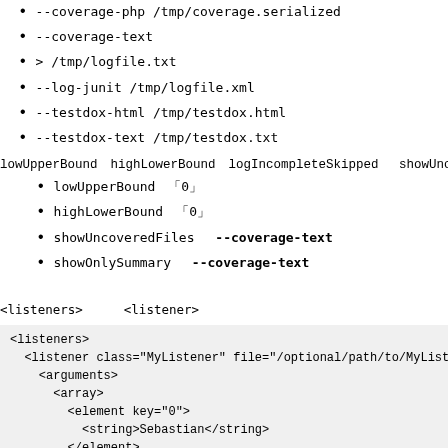--coverage-php /tmp/coverage.serialized
--coverage-text
> /tmp/logfile.txt
--log-junit /tmp/logfile.xml
--testdox-html /tmp/testdox.html
--testdox-text /tmp/testdox.txt
lowUpperBound　1highLowerBound　1logIncompleteSkipped　 showUncovered
lowUpperBound　　「0」
highLowerBound　「0」
showUncoveredFiles　 --coverage-text
showOnlySummary　 --coverage-text
<listeners> 　　 <listener>
<listeners>
  <listener class="MyListener" file="/optional/path/to/MyListe
    <arguments>
      <array>
        <element key="0">
          <string>Sebastian</string>
        </element>
      </array>
      <integer>22</integer>